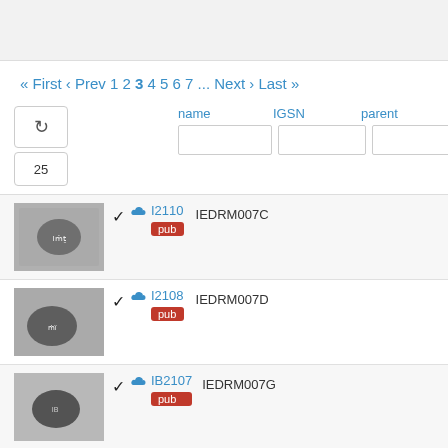« First ‹ Prev 1 2 3 4 5 6 7 ... Next › Last »
[Figure (screenshot): Sample listing table with refresh button, count box (25), and column headers: name, IGSN, parent. Three rows visible: I2110 / IEDRM007C / pub, I2108 / IEDRM007D / pub, IB2107 / IEDRM007G / pub, and a fourth partially visible row.]